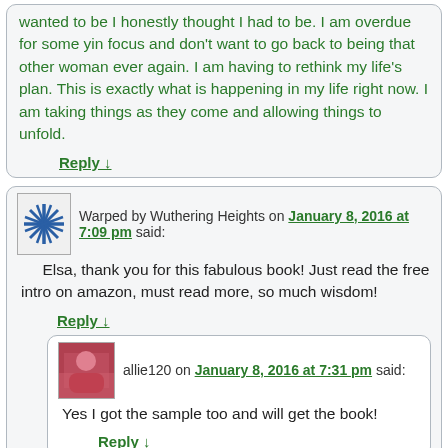wanted to be I honestly thought I had to be. I am overdue for some yin focus and don't want to go back to being that other woman ever again. I am having to rethink my life's plan. This is exactly what is happening in my life right now. I am taking things as they come and allowing things to unfold.
Reply ↓
Warped by Wuthering Heights on January 8, 2016 at 7:09 pm said:
Elsa, thank you for this fabulous book! Just read the free intro on amazon, must read more, so much wisdom!
Reply ↓
allie120 on January 8, 2016 at 7:31 pm said:
Yes I got the sample too and will get the book!
Reply ↓
Libra noir on January 8, 2016 at 7:53 pm said:
In my one consultation with you elsa, you said that I have a very yin chart. So yes, I'm very yin. I always feel like I'm kind of